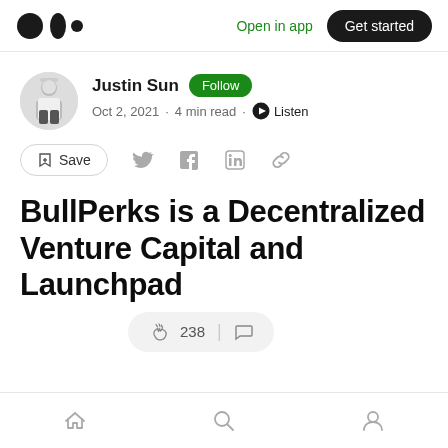Medium logo | Open in app | Get started
Justin Sun · Follow · Oct 2, 2021 · 4 min read · Listen
Save (social share icons)
BullPerks is a Decentralized Venture Capital and Launchpad
238 claps | comments
Home | Search | Profile